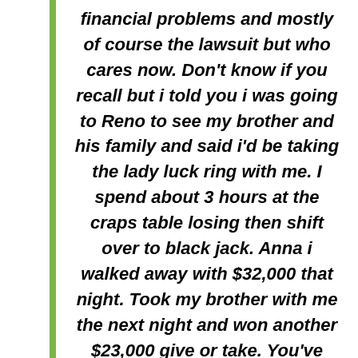financial problems and mostly of course the lawsuit but who cares now. Don't know if you recall but i told you i was going to Reno to see my brother and his family and said i'd be taking the lady luck ring with me. I spend about 3 hours at the craps table losing then shift over to black jack. Anna i walked away with $32,000 that night. Took my brother with me the next night and won another $23,000 give or take. You've been such a blessing in my life and